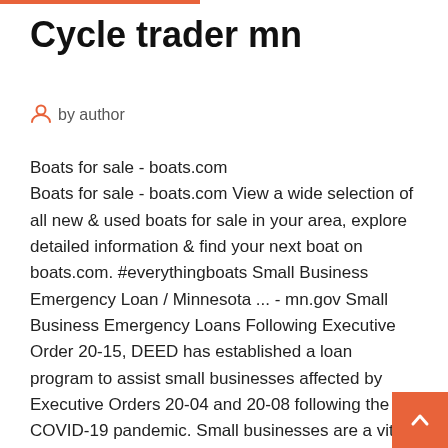Cycle trader mn
by author
Boats for sale - boats.com
Boats for sale - boats.com View a wide selection of all new & used boats for sale in your area, explore detailed information & find your next boat on boats.com. #everythingboats Small Business Emergency Loan / Minnesota ... - mn.gov Small Business Emergency Loans Following Executive Order 20-15, DEED has established a loan program to assist small businesses affected by Executive Orders 20-04 and 20-08 following the COVID-19 pandemic. Small businesses are a vital part of Minnesota’s economy and this program will provide a source of working capital to help businesses sustain operations during this challenging time. ATVs New Prices, ATVs Used Values and Book Values ATVs manufacturer pricing, MSRP, and book values . The invention of the quadracycle in 1893 began the long history of utility vehicles, which were